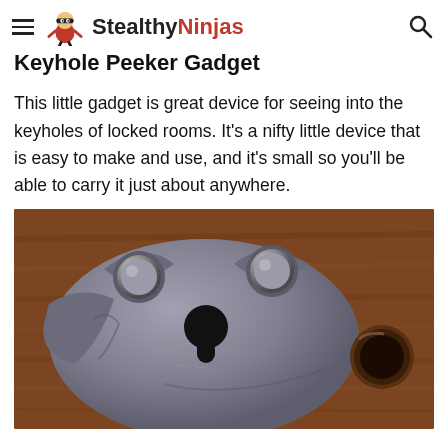StealthyNinjas
Keyhole Peeker Gadget
This little gadget is great device for seeing into the keyholes of locked rooms. It’s a nifty little device that is easy to make and use, and it’s small so you’ll be able to carry it just about anywhere.
[Figure (photo): Close-up photograph of an antique metal lock plate mounted on wood, featuring a keyhole in the center and a round hole to the right, with decorative metalwork and bolt studs at the top.]